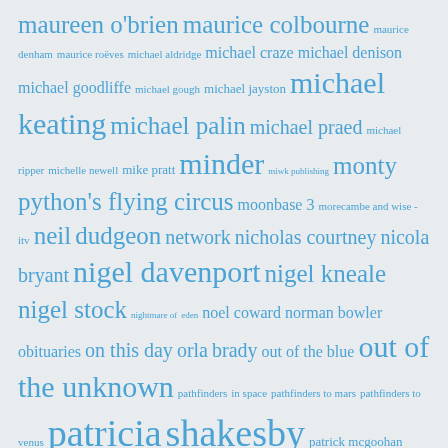[Figure (infographic): Tag cloud of TV-related names and show titles in various shades and sizes of blue text on a light grey background. Terms include: maureen o'brien, maurice colbourne, maurice denham, maurice roëves, michael aldridge, michael craze, michael denison, michael goodliffe, michael gough, michael jayston, michael keating, michael palin, michael praed, michael ripper, michelle newell, mike pratt, minder, miwk publishing, monty python's flying circus, moonbase 3, morecambe and wise - itv, neil dudgeon, network, nicholas courtney, nicola bryant, nigel davenport, nigel kneale, nigel stock, nightmare of eden, noel coward, norman bowler, obituaries, on this day, orla brady, out of the blue, out of the unknown, pathfinders in space, pathfinders to mars, pathfinders to venus, patricia shakesby, patrick mcgoohan, patrick mower, patrick o'connell, patrick troughton, patrick wymark, paul darrow, paul eddington, pauline collins, paul jerricho, paul merton, paul merton in galton & simpsons ..., penelope keith, perry and croft, peter barkworth, peter byrne, peter cushing, peter davison, peter egan, peter jeffrey, peter jones, peter purves, peter r. newman, peter sallis, peter tuddenham]